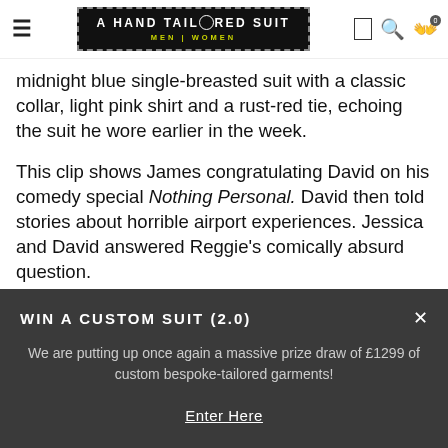A HAND TAILORED SUIT | MEN | WOMEN
midnight blue single-breasted suit with a classic collar, light pink shirt and a rust-red tie, echoing the suit he wore earlier in the week.
This clip shows James congratulating David on his comedy special Nothing Personal. David then told stories about horrible airport experiences. Jessica and David answered Reggie's comically absurd question.
WIN A CUSTOM SUIT (2.0)
We are putting up once again a massive prize draw of £1299 of custom bespoke-tailored garments!
Enter Here